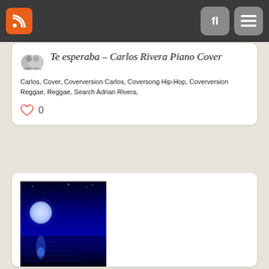RSS feed and navigation buttons
Te esperaba – Carlos Rivera Piano Cover
Carlos, Cover, Coverversion Carlos, Coversong Hip-Hop, Coverversion Reggae, Reggae, Search Adrian Rivera,
0
[Figure (photo): A dark blue nighttime ocean scene with a bright full moon reflecting on the water surface, with stars in the sky.]